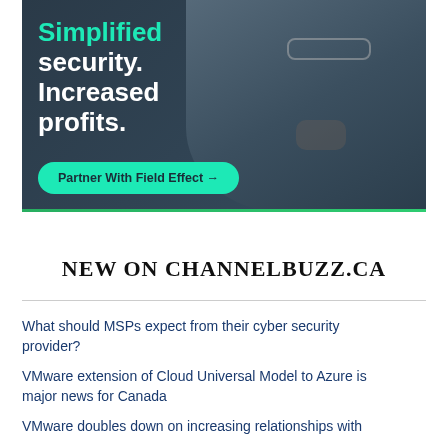[Figure (photo): Advertisement banner for Field Effect showing a man in glasses thinking, with text 'Simplified security. Increased profits.' and a green 'Partner With Field Effect' button on a dark background.]
NEW ON CHANNELBUZZ.CA
What should MSPs expect from their cyber security provider?
VMware extension of Cloud Universal Model to Azure is major news for Canada
VMware doubles down on increasing relationships with...